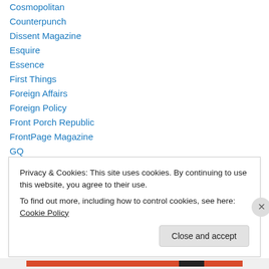Cosmopolitan
Counterpunch
Dissent Magazine
Esquire
Essence
First Things
Foreign Affairs
Foreign Policy
Front Porch Republic
FrontPage Magazine
GQ
Harper's Magazine
Human Events
Privacy & Cookies: This site uses cookies. By continuing to use this website, you agree to their use.
To find out more, including how to control cookies, see here: Cookie Policy
Close and accept